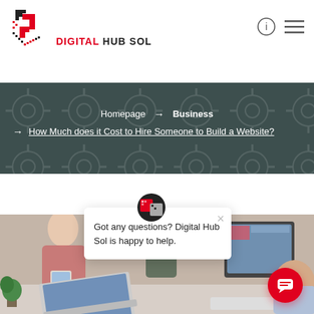DIGITAL HUB SOL
Homepage → Business → How Much does it Cost to Hire Someone to Build a Website?
[Figure (screenshot): Website screenshot showing Digital Hub Sol header with logo, navigation icons, breadcrumb banner with dark teal background, white space, and a photo of people working on laptops and tablets with a chat popup saying 'Got any questions? Digital Hub Sol is happy to help.']